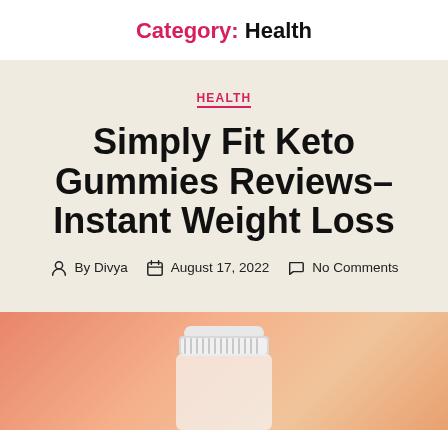Category: Health
HEALTH
Simply Fit Keto Gummies Reviews– Instant Weight Loss
By Divya   August 17, 2022   No Comments
[Figure (photo): Product bottle with white cap on an orange-pink gradient background, partially visible at the bottom of the page]